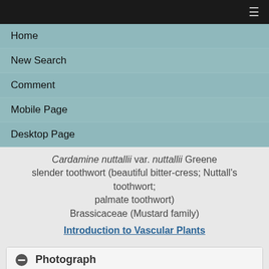≡
Home
New Search
Comment
Mobile Page
Desktop Page
Cardamine nuttallii var. nuttallii Greene slender toothwort (beautiful bitter-cress; Nuttall's toothwort; palmate toothwort) Brassicaceae (Mustard family)
Introduction to Vascular Plants
Photograph
[Figure (photo): Close-up photograph of Cardamine nuttallii showing pale pink/white flower buds and small flowers against a blurred green and dark background]